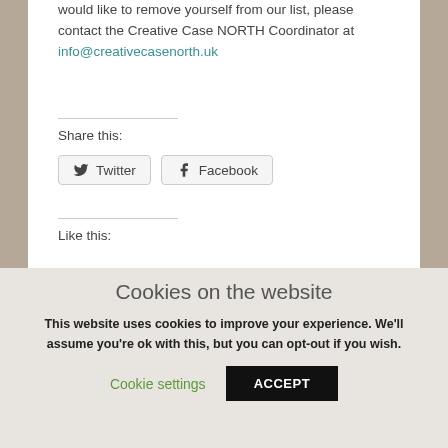would like to remove yourself from our list, please contact the Creative Case NORTH Coordinator at info@creativecasenorth.uk
Share this:
Twitter  Facebook
Like this:
Cookies on the website
This website uses cookies to improve your experience. We'll assume you're ok with this, but you can opt-out if you wish.
Cookie settings  ACCEPT